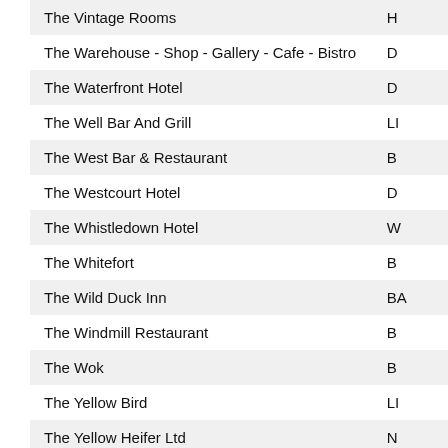| Name | Code |
| --- | --- |
| The Vintage Rooms | H |
| The Warehouse - Shop - Gallery - Cafe - Bistro | D |
| The Waterfront Hotel | D |
| The Well Bar And Grill | LI |
| The West Bar & Restaurant | B |
| The Westcourt Hotel | D |
| The Whistledown Hotel | W |
| The Whitefort | B |
| The Wild Duck Inn | BA |
| The Windmill Restaurant | B |
| The Wok | B |
| The Yellow Bird | LI |
| The Yellow Heifer Ltd | N |
| The Yellow Pepper Restaurant | LE |
| Thirty Six | B |
| Thirty Six Catering | B |
| Three Kings | B |
| Thunderdome Cafe | N |